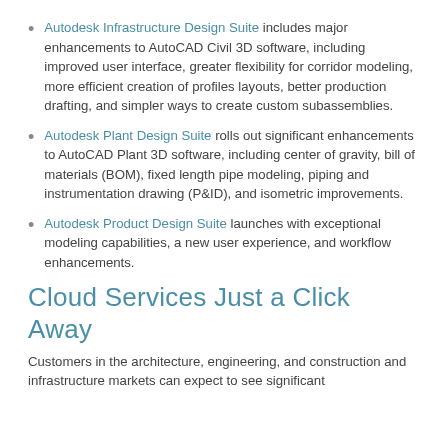Autodesk Infrastructure Design Suite includes major enhancements to AutoCAD Civil 3D software, including improved user interface, greater flexibility for corridor modeling, more efficient creation of profiles layouts, better production drafting, and simpler ways to create custom subassemblies.
Autodesk Plant Design Suite rolls out significant enhancements to AutoCAD Plant 3D software, including center of gravity, bill of materials (BOM), fixed length pipe modeling, piping and instrumentation drawing (P&ID), and isometric improvements.
Autodesk Product Design Suite launches with exceptional modeling capabilities, a new user experience, and workflow enhancements.
Cloud Services Just a Click Away
Customers in the architecture, engineering, and construction and infrastructure markets can expect to see significant